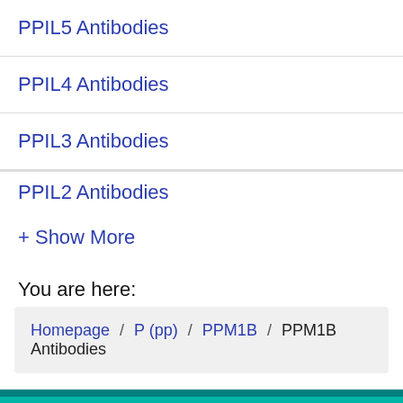PPIL5 Antibodies
PPIL4 Antibodies
PPIL3 Antibodies
PPIL2 Antibodies
+ Show More
You are here:
Homepage / P (pp) / PPM1B / PPM1B Antibodies
Save / Share   Support